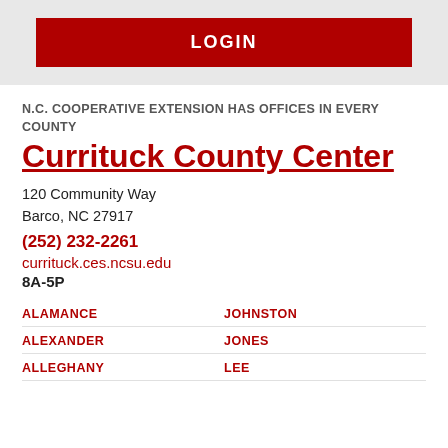LOGIN
N.C. COOPERATIVE EXTENSION HAS OFFICES IN EVERY COUNTY
Currituck County Center
120 Community Way
Barco, NC 27917
(252) 232-2261
currituck.ces.ncsu.edu
8A-5P
ALAMANCE
ALEXANDER
ALLEGHANY
JOHNSTON
JONES
LEE